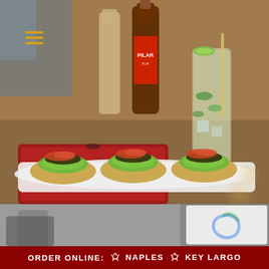[Figure (photo): Food photo showing three avocado bruschetta topped with black beans and tomato salsa on a white rectangular plate, with a Pilar rum bottle and a mojito cocktail in the background, along with a red Pilar branded cooler/box. A hamburger menu icon in gold/yellow appears in the upper left corner.]
[Figure (photo): Partial view of a second food/restaurant photo showing a motorcycle and restaurant scene, partially visible at the bottom of the page.]
ORDER ONLINE:  🛒 NAPLES  🛒 KEY LARGO